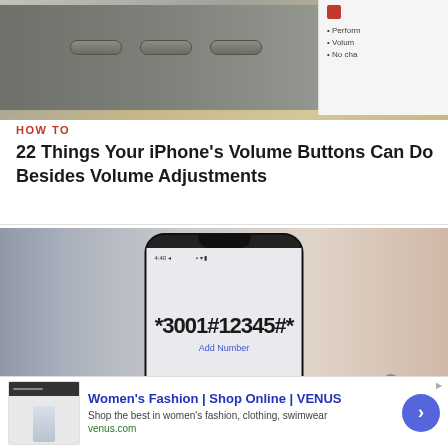[Figure (photo): Close-up of iPhone side showing volume buttons on a wooden surface, with paper/document visible in background]
HOW TO
22 Things Your iPhone's Volume Buttons Can Do Besides Volume Adjustments
[Figure (photo): iPhone showing *3001#12345#* field with Add Number button on screen, phone placed on a surface]
[Figure (photo): Advertisement: Women's Fashion | Shop Online | VENUS - Shop the best in women's fashion, clothing, swimwear - venus.com]